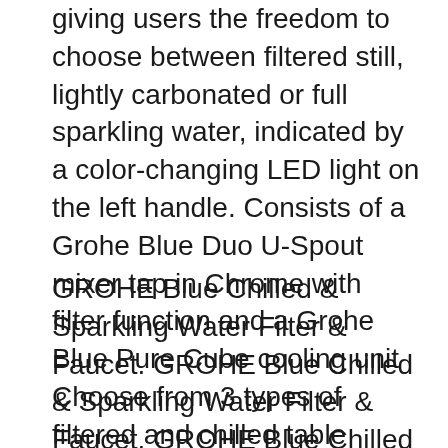giving users the freedom to choose between filtered still, lightly carbonated or full sparkling water, indicated by a color-changing LED light on the left handle. Consists of a Grohe Blue Duo U-Spout mixer tap in Chrome with filter function and a Grohe Blue Pure Cube cooling unit Choose from 3 types of filtered and chilled table water - unchilled, medium chilled and fully chilled with lightly sparkling or sparkling water by adding carbonic acid from the tank.
GROHE Blue Chilled & Sparkling Water Filter & Faucet. GROHE Blue Chilled & Sparkling Water Filter & Faucet. GROHE Blue Chilled & Sparkling Water Filter & Faucet. Saved from grohe.com. Discover ideas about Kitchen Taps. GROHE Blue - Cold sparkling water straight from the tap. JP's